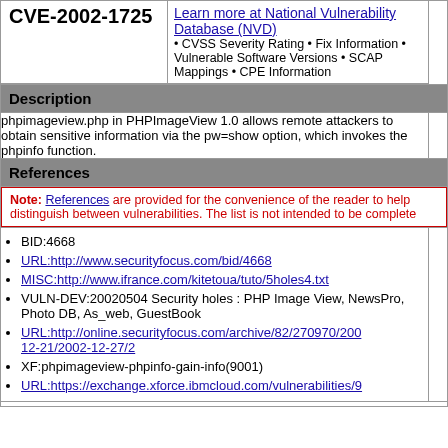| CVE-2002-1725 | NVD Link |
| --- | --- |
| CVE-2002-1725 | Learn more at National Vulnerability Database (NVD)
• CVSS Severity Rating • Fix Information • Vulnerable Software Versions • SCAP Mappings • CPE Information |
| Description |  |
| phpimageview.php in PHPImageView 1.0 allows remote attackers to obtain sensitive information via the pw=show option, which invokes the phpinfo function. |  |
| References |  |
| Note: References are provided for the convenience of the reader to help distinguish between vulnerabilities. The list is not intended to be complete. |  |
| BID:4668
URL:http://www.securityfocus.com/bid/4668
MISC:http://www.ifrance.com/kitetoua/tuto/5holes4.txt
VULN-DEV:20020504 Security holes : PHP Image View, NewsPro, Photo DB, As_web, GuestBook
URL:http://online.securityfocus.com/archive/82/270970/2002-12-21/2002-12-27/2
XF:phpimageview-phpinfo-gain-info(9001)
URL:https://exchange.xforce.ibmcloud.com/vulnerabilities/9... |  |